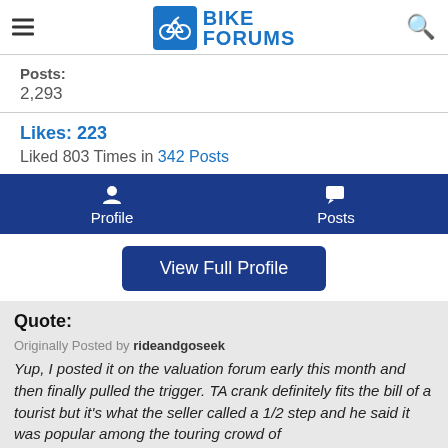Bike Forums
Posts: 2,293
Likes: 223
Liked 803 Times in 342 Posts
Profile   Posts
View Full Profile
Quote:
Originally Posted by rideandgoseek
Yup, I posted it on the valuation forum early this month and then finally pulled the trigger. TA crank definitely fits the bill of a tourist but it's what the seller called a 1/2 step and he said it was popular among the touring crowd of